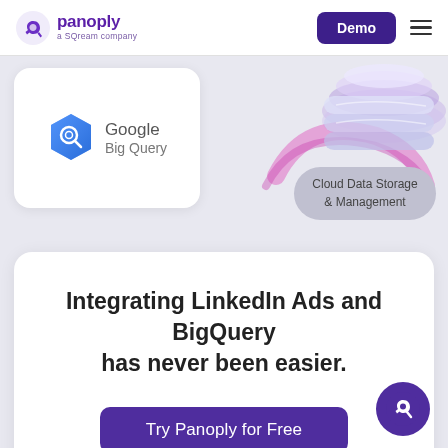panoply a SQream company | Demo
[Figure (logo): Google BigQuery logo with blue hexagon icon and text 'Google Big Query' inside a white rounded card]
[Figure (illustration): Abstract purple and lavender swirling illustration with stacked disc shapes on the right side of the upper section]
Cloud Data Storage & Management
Integrating LinkedIn Ads and BigQuery has never been easier.
Try Panoply for Free
[Figure (logo): Panoply circular icon (white P-arrow logo on purple background) floating in bottom-right corner]